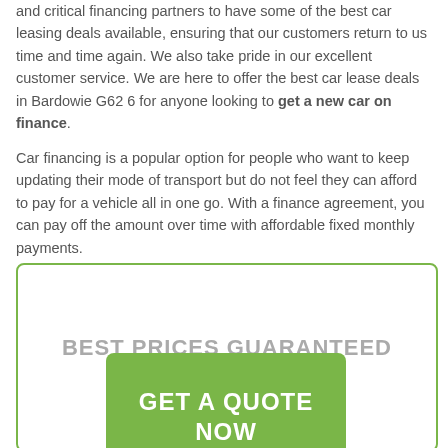and critical financing partners to have some of the best car leasing deals available, ensuring that our customers return to us time and time again. We also take pride in our excellent customer service. We are here to offer the best car lease deals in Bardowie G62 6 for anyone looking to get a new car on finance.
Car financing is a popular option for people who want to keep updating their mode of transport but do not feel they can afford to pay for a vehicle all in one go. With a finance agreement, you can pay off the amount over time with affordable fixed monthly payments.
BEST PRICES GUARANTEED
GET A QUOTE NOW